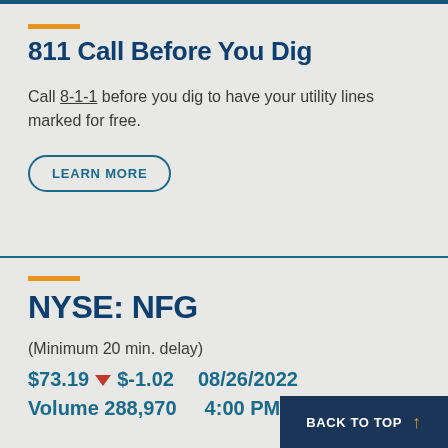811 Call Before You Dig
Call 8-1-1 before you dig to have your utility lines marked for free.
LEARN MORE
NYSE: NFG
(Minimum 20 min. delay)
$73.19 ▼ $-1.02 08/26/2022
Volume 288,970 4:00 PM
BACK TO TOP ↑